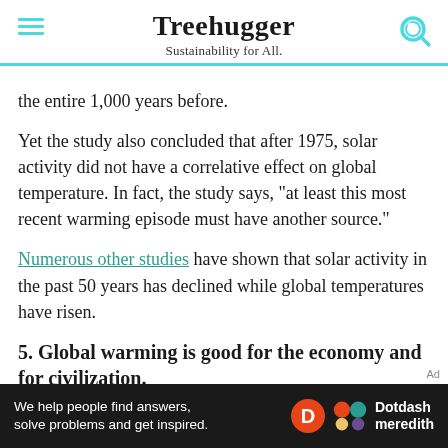Treehugger — Sustainability for All.
the entire 1,000 years before.
Yet the study also concluded that after 1975, solar activity did not have a correlative effect on global temperature. In fact, the study says, "at least this most recent warming episode must have another source."
Numerous other studies have shown that solar activity in the past 50 years has declined while global temperatures have risen.
5. Global warming is good for the economy and for civilization.
A ...  Heartland Institute report in 2003 says ...
[Figure (other): Dotdash Meredith advertisement bar at the bottom of the page]